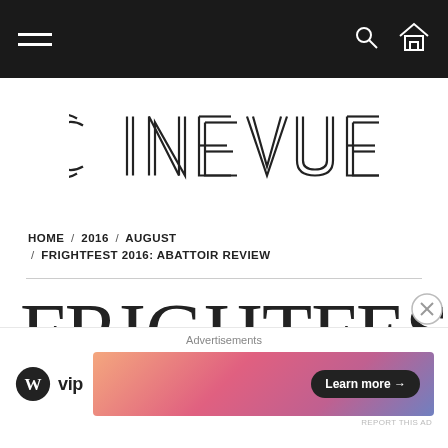Navigation bar with hamburger menu, search icon, and home icon
[Figure (logo): CINEVUE logo in outlined/double-stroke geometric display typeface]
HOME / 2016 / AUGUST / FRIGHTFEST 2016: ABATTOIR REVIEW
FRIGHTFEST 2016: ABATTOIR
[Figure (other): Advertisement overlay with WordPress VIP logo and a gradient banner ad with Learn more button]